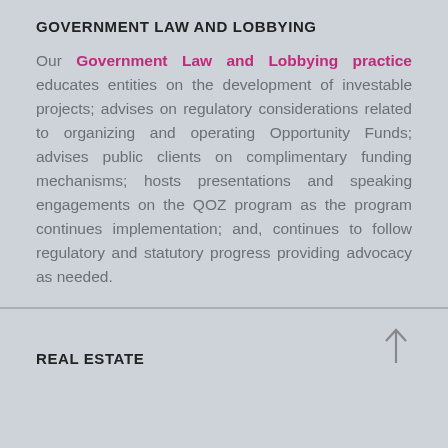GOVERNMENT LAW AND LOBBYING
Our Government Law and Lobbying practice educates entities on the development of investable projects; advises on regulatory considerations related to organizing and operating Opportunity Funds; advises public clients on complimentary funding mechanisms; hosts presentations and speaking engagements on the QOZ program as the program continues implementation; and, continues to follow regulatory and statutory progress providing advocacy as needed.
REAL ESTATE